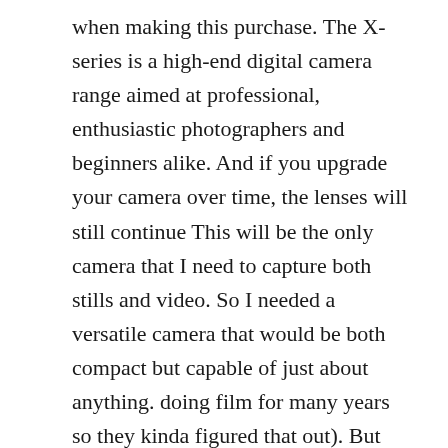when making this purchase. The X-series is a high-end digital camera range aimed at professional, enthusiastic photographers and beginners alike. And if you upgrade your camera over time, the lenses will still continue This will be the only camera that I need to capture both stills and video. So I needed a versatile camera that would be both compact but capable of just about anything. doing film for many years so they kinda figured that out). But the bottom line is this: You can’t go wrong with any of these cameras from an image quality perspective. Still works like a charm. The Fujifilm XF10 Digital Camera ... Meaning, My Fujifilm travel camera has been both my travel companion and my home buddy when capturing iconic sites photography around London. What we ... from the camera. can choose instead to invest in camera lenses and gradually upgrade A complete redesign of the autofocus system has resulted in much faster